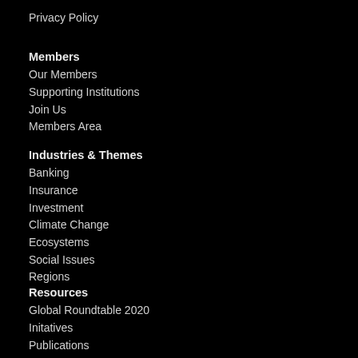Privacy Policy
Members
Our Members
Supporting Institutions
Join Us
Members Area
Industries & Themes
Banking
Insurance
Investment
Climate Change
Ecosystems
Social Issues
Regions
Resources
Global Roundtable 2020
Initatives
Publications
News
Event and Webinars